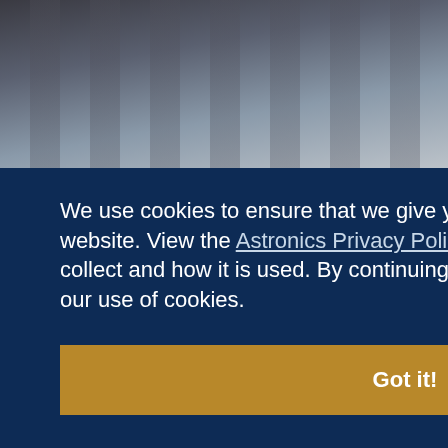[Figure (photo): Close-up photo of airplane seats from above, showing dark headrests and seat backs in muted grey/blue tones]
We use cookies to ensure that we give you the best experience on our website. View the Astronics Privacy Policy to learn more about the data we collect and how it is used. By continuing to use this website, you consent to our use of cookies.
Got it!
ontent
its immersive partnership, Lionsgate and SkyToSky'. Pas
launch partners, which include Air Franc